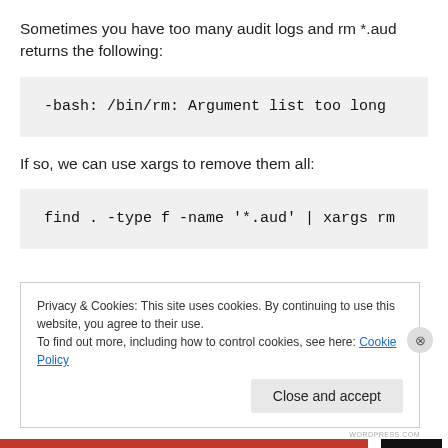Sometimes you have too many audit logs and rm *.aud returns the following:
-bash: /bin/rm: Argument list too long
If so, we can use xargs to remove them all:
find . -type f -name '*.aud' | xargs rm
Privacy & Cookies: This site uses cookies. By continuing to use this website, you agree to their use.
To find out more, including how to control cookies, see here: Cookie Policy
Close and accept